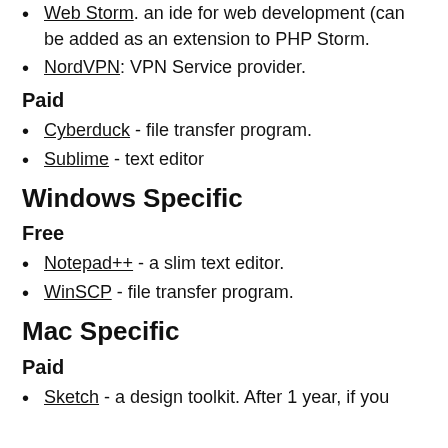Web Storm. an ide for web development (can be added as an extension to PHP Storm.
NordVPN: VPN Service provider.
Paid
Cyberduck - file transfer program.
Sublime - text editor
Windows Specific
Free
Notepad++ - a slim text editor.
WinSCP - file transfer program.
Mac Specific
Paid
Sketch - a design toolkit. After 1 year, if you